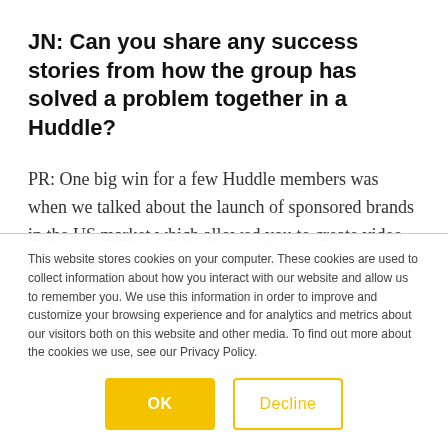JN: Can you share any success stories from how the group has solved a problem together in a Huddle?
PR: One big win for a few Huddle members was when we talked about the launch of sponsored brands in the US market which allowed you to create video advertising. As it was so new, it really was something that people
This website stores cookies on your computer. These cookies are used to collect information about how you interact with our website and allow us to remember you. We use this information in order to improve and customize your browsing experience and for analytics and metrics about our visitors both on this website and other media. To find out more about the cookies we use, see our Privacy Policy.